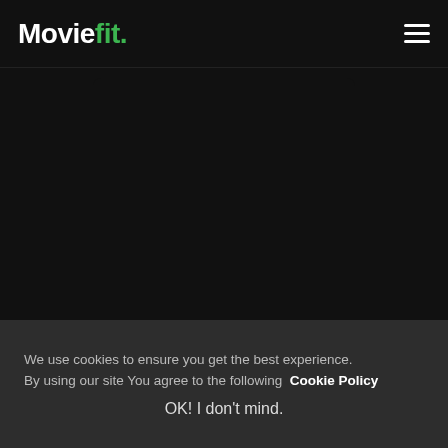Moviefit.
[Figure (other): Movie/TV show card for The Beauty Inside (2018) — dark background card with title text, a green TV Show badge with monitor icon, and a gold star rating of 7.5]
The Beauty Inside (2018)
TV Show  ★ 7.5
We use cookies to ensure you get the best experience. By using our site You agree to the following  Cookie Policy
OK! I don't mind.